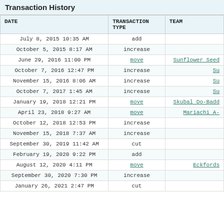Transaction History
| DATE | TRANSACTION TYPE | TEAM |
| --- | --- | --- |
| July 8, 2015 10:35 AM | add |  |
| October 5, 2015 8:17 AM | increase |  |
| June 29, 2016 11:00 PM | move | Sunflower Seed |
| October 7, 2016 12:47 PM | increase | Su |
| November 15, 2016 8:06 AM | increase | Su |
| October 7, 2017 1:45 AM | increase | Su |
| January 19, 2018 12:21 PM | move | Skubal Do-Badd |
| April 23, 2018 9:27 AM | move | Mariachi A- |
| October 12, 2018 12:53 PM | increase |  |
| November 15, 2018 7:37 AM | increase |  |
| September 30, 2019 11:42 AM | cut |  |
| February 19, 2020 9:22 PM | add |  |
| August 12, 2020 4:11 PM | move | Eckfords |
| September 30, 2020 7:30 PM | increase |  |
| January 26, 2021 2:47 PM | cut |  |